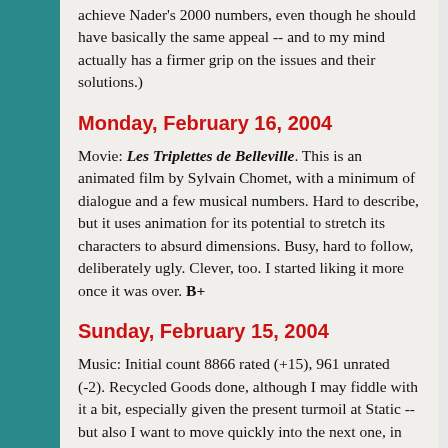achieve Nader's 2000 numbers, even though he should have basically the same appeal -- and to my mind actually has a firmer grip on the issues and their solutions.)
Monday, February 16, 2004
Movie: Les Triplettes de Belleville. This is an animated film by Sylvain Chomet, with a minimum of dialogue and a few musical numbers. Hard to describe, but it uses animation for its potential to stretch its characters to absurd dimensions. Busy, hard to follow, deliberately ugly. Clever, too. I started liking it more once it was over. B+
Sunday, February 15, 2004
Music: Initial count 8866 rated (+15), 961 unrated (-2). Recycled Goods done, although I may fiddle with it a bit, especially given the present turmoil at Static -- but also I want to move quickly into the next one, in large part because I'm tired of the blues overload. (Actually, I wound up splitting out all of the non-blues, holding that for next time, upgrading a